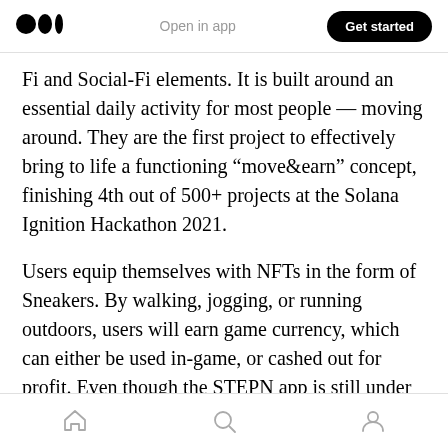Medium logo | Open in app | Get started
Fi and Social-Fi elements. It is built around an essential daily activity for most people — moving around. They are the first project to effectively bring to life a functioning “move&earn” concept, finishing 4th out of 500+ projects at the Solana Ignition Hackathon 2021.
Users equip themselves with NFTs in the form of Sneakers. By walking, jogging, or running outdoors, users will earn game currency, which can either be used in-game, or cashed out for profit. Even though the STEPN app is still under
Home | Search | Profile